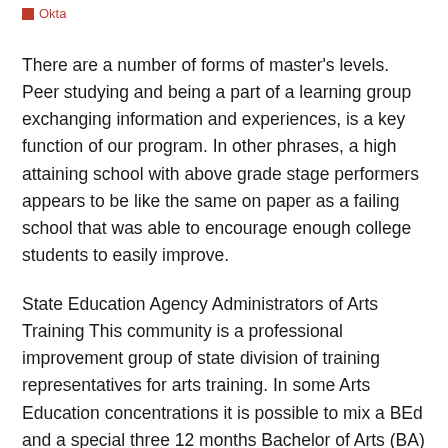Okta
There are a number of forms of master's levels. Peer studying and being a part of a learning group exchanging information and experiences, is a key function of our program. In other phrases, a high attaining school with above grade stage performers appears to be like the same on paper as a failing school that was able to encourage enough college students to easily improve.
State Education Agency Administrators of Arts Training This community is a professional improvement group of state division of training representatives for arts training. In some Arts Education concentrations it is possible to mix a BEd and a special three 12 months Bachelor of Arts (BA) offered by the School of Media, Art and Performance, or Bachelor of Dance (BDan) offered by the Faculty of Training.